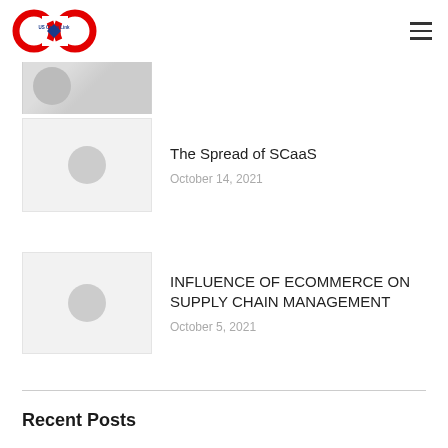US Cargo Link
[Figure (screenshot): Partially visible blog post card with thumbnail image]
The Spread of SCaaS
October 14, 2021
INFLUENCE OF ECOMMERCE ON SUPPLY CHAIN MANAGEMENT
October 5, 2021
Recent Posts